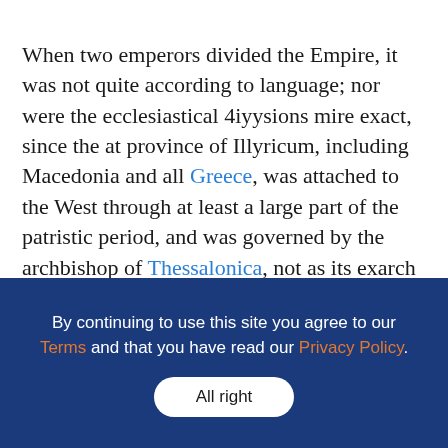When two emperors divided the Empire, it was not quite according to language; nor were the ecclesiastical 4iyysions mire exact, since the at province of Illyricum, including Macedonia and all Greece, was attached to the West through at least a large part of the patristic period, and was governed by the archbishop of Thessalonica, not as its exarch or patriarch, but as papal legate. But in considering the literary productions of the age, we must class them as Latin or Greek, and this is what will be meant here by Western and Eastern. The understanding of the relations between Greeks and Latins is often obscured by certain prepossessions. We talk of the “unchanging East”, of the philosophical Greeks as opposed to the
By continuing to use this site you agree to our Terms and that you have read our Privacy Policy.
All right